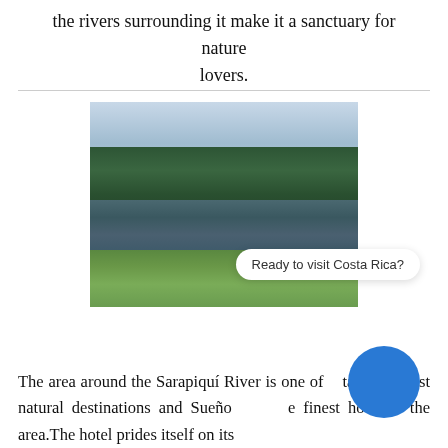the rivers surrounding it make it a sanctuary for nature lovers.
[Figure (photo): A river scene with lush green trees reflecting in calm water, green grass in the foreground, partly cloudy sky above.]
Ready to visit Costa Rica?
The area around the Sarapiquí River is one of Costa Rica's best natural destinations and Sueño [azul] the finest hotel in the area.The hotel prides itself on its